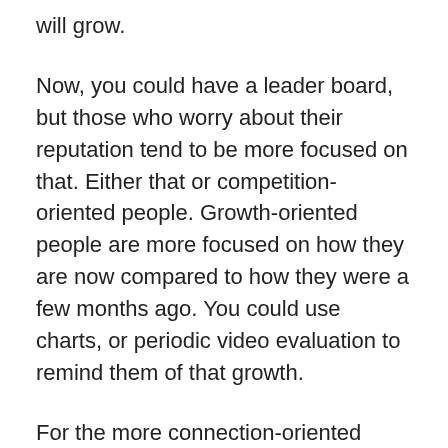will grow.
Now, you could have a leader board, but those who worry about their reputation tend to be more focused on that. Either that or competition-oriented people. Growth-oriented people are more focused on how they are now compared to how they were a few months ago. You could use charts, or periodic video evaluation to remind them of that growth.
For the more connection-oriented people. Having small study groups is helpful. Studying by yourself can be isolating and demotivating. Including some social interaction can also help this group learn as well. Plus, if everyone is working at the same pace, they will not want